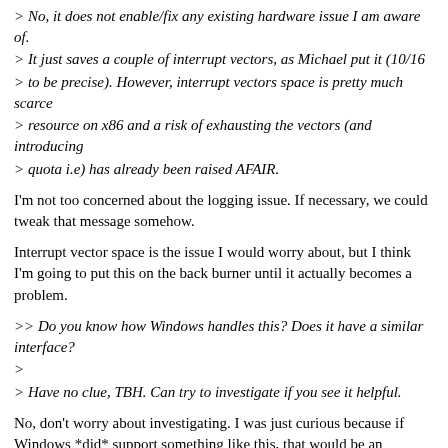> No, it does not enable/fix any existing hardware issue I am aware of.
> It just saves a couple of interrupt vectors, as Michael put it (10/16
> to be precise). However, interrupt vectors space is pretty much scarce
> resource on x86 and a risk of exhausting the vectors (and introducing
> quota i.e) has already been raised AFAIR.
I'm not too concerned about the logging issue. If necessary, we could
tweak that message somehow.
Interrupt vector space is the issue I would worry about, but I think I'm going to put this on the back burner until it actually becomes a problem.
>> Do you know how Windows handles this? Does it have a similar interface?
>
> Have no clue, TBH. Can try to investigate if you see it helpful.
No, don't worry about investigating. I was just curious because if Windows *did* support something like this, that would be an